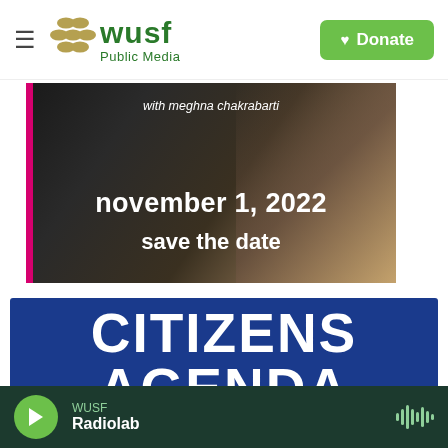WUSF Public Media — Donate
[Figure (photo): Promotional image with woman in dark jacket, text overlay 'with meghna chakrabarti', 'november 1, 2022', 'save the date', pink left border accent]
[Figure (illustration): Dark blue banner with large white bold uppercase text reading 'CITIZENS AGENDA']
WUSF — Radiolab — audio player bar with green play button and waveform icon